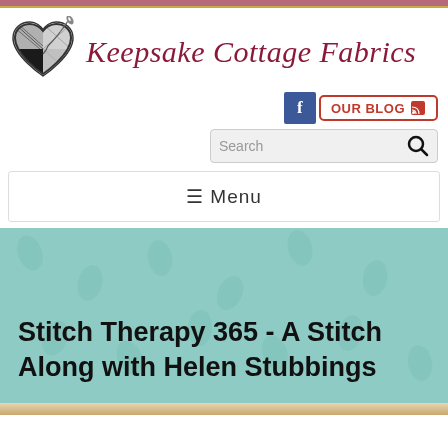[Figure (logo): Keepsake Cottage Fabrics logo: a heart shape with black and white quilt pattern and a needle with thread, followed by the cursive text 'Keepsake Cottage Fabrics' in dark red/maroon italic serif font]
[Figure (screenshot): Facebook icon (blue square with white 'f') and an 'OUR BLOG' button with RSS icon in red text]
[Figure (screenshot): Search box with magnifying glass icon]
≡ Menu
Stitch Therapy 365 - A Stitch Along with Helen Stubbings